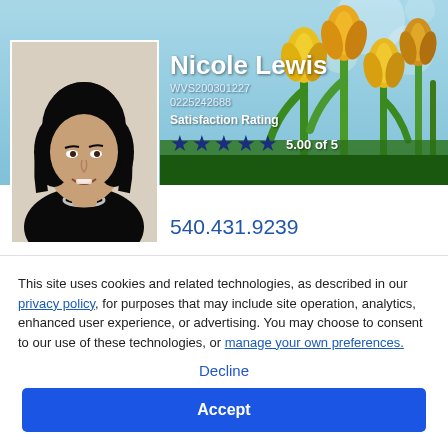[Figure (photo): Profile page banner with tulip flower background in green and yellow colors]
[Figure (photo): Headshot of Nicole Lewis, a woman with dark curly hair wearing a black top and necklace]
Nicole Lewis
WVS200301227
0225242688
Satisfaction Rating
5.00 of 5
540.431.9239
This site uses cookies and related technologies, as described in our privacy policy, for purposes that may include site operation, analytics, enhanced user experience, or advertising. You may choose to consent to our use of these technologies, or manage your own preferences.
Decline
Accept